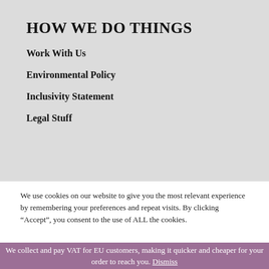HOW WE DO THINGS
Work With Us
Environmental Policy
Inclusivity Statement
Legal Stuff
We use cookies on our website to give you the most relevant experience by remembering your preferences and repeat visits. By clicking “Accept”, you consent to the use of ALL the cookies.
We collect and pay VAT for EU customers, making it quicker and cheaper for your order to reach you. Dismiss